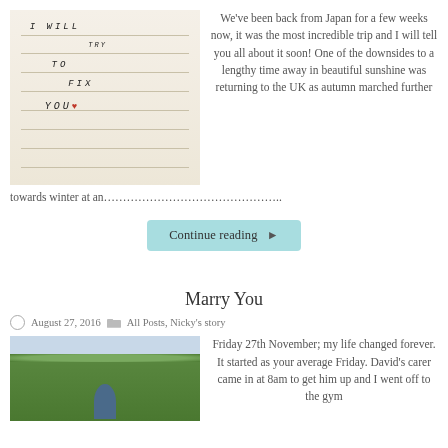[Figure (photo): Close-up photo of handwritten text on lined paper reading 'I WILL TRY TO FIX YOU' with a small red heart]
We've been back from Japan for a few weeks now, it was the most incredible trip and I will tell you all about it soon!  One of the downsides to a lengthy time away in beautiful sunshine was returning to the UK as autumn marched further towards winter at an…………………………………..
Continue reading ▶
Marry You
August 27, 2016   All Posts, Nicky's story
[Figure (photo): Outdoor photo of a man standing in front of a tall green hedge]
Friday 27th November; my life changed forever.  It started as your average Friday.  David's carer came in at 8am to get him up and I went off to the gym